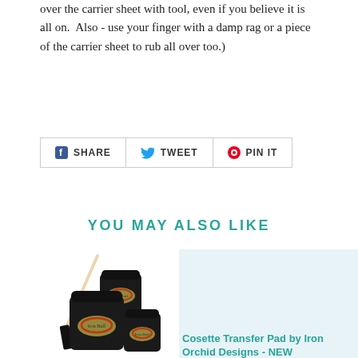over the carrier sheet with tool, even if you believe it is all on.  Also - use your finger with a damp rag or a piece of the carrier sheet to rub all over too.)
[Figure (infographic): Social sharing buttons row: Facebook SHARE, Twitter TWEET, Pinterest PIN IT]
YOU MAY ALSO LIKE
[Figure (photo): Product photo: three dark jars of paint/wax with labels and a long thin stirring tool/spatula]
[Figure (photo): Product placeholder image with light blue background for Cosette Transfer Pad by Iron Orchid Designs - NEW]
Cosette Transfer Pad by Iron Orchid Designs - NEW